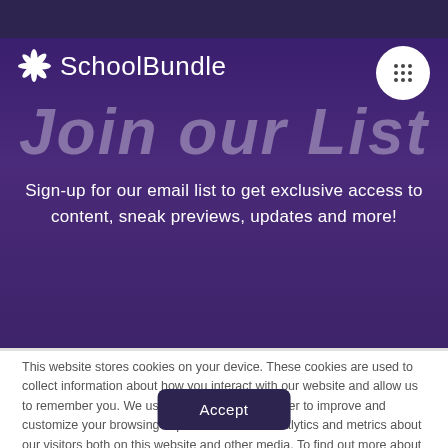SchoolBundle
Join our List
Sign-up for our email list to get exclusive access to content, sneak previews, updates and more!
This website stores cookies on your device. These cookies are used to collect information about how you interact with our website and allow us to remember you. We use this information in order to improve and customize your browsing experience and for analytics and metrics about our visitors both on this website and other media. To find out more about the cookies we use, see our Privacy Policy.
Accept